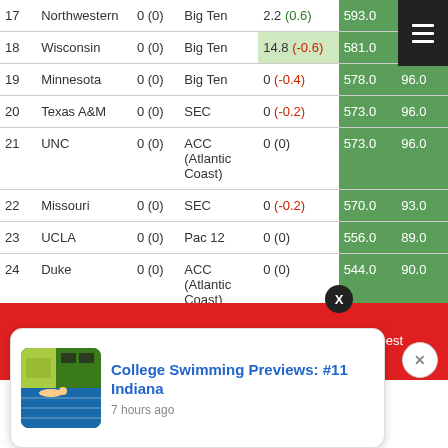| # | Team | Record | Conference | Change | Points |  |
| --- | --- | --- | --- | --- | --- | --- |
| 17 | Northwestern | 0 (0) | Big Ten | 2.2 (+0.6) | 593.0 |  |
| 18 | Wisconsin | 0 (0) | Big Ten | 14.8 (-0.6) | 581.0 |  |
| 19 | Minnesota | 0 (0) | Big Ten | 0 (-0.4) | 578.0 | 96.0 |
| 20 | Texas A&M | 0 (0) | SEC | 0 (-0.2) | 573.0 | 96.0 |
| 21 | UNC | 0 (0) | ACC (Atlantic Coast) | 0 (0) | 573.0 | 96.0 |
| 22 | Missouri | 0 (0) | SEC | 0 (-0.2) | 570.0 | 93.0 |
| 23 | UCLA | 0 (0) | Pac 12 | 0 (0) | 556.0 | 89.0 |
| 24 | Duke | 0 (0) | ACC (Atlantic Coast) | 0 (0) | 544.0 | 90.0 |
[Figure (screenshot): Notification card for 'College Swimming Previews: #11 Indiana' posted 7 hours ago, overlaid on a red advertisement bar]